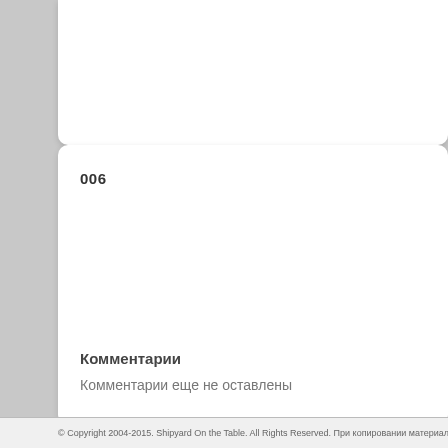006
Комментарии
Комментарии еще не оставлены
© Copyright 2004-2015. Shipyard On the Table. All Rights Reserved. При копировании материало